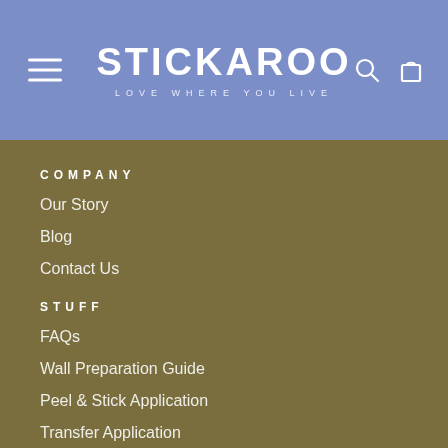STICKAROO — LOVE WHERE YOU LIVE
COMPANY
Our Story
Blog
Contact Us
STUFF
FAQs
Wall Preparation Guide
Peel & Stick Application
Transfer Application